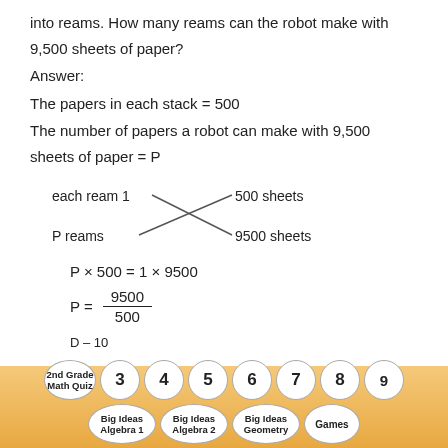into reams. How many reams can the robot make with 9,500 sheets of paper?
Answer:
The papers in each stack = 500
The number of papers a robot can make with 9,500 sheets of paper = P
[Figure (schematic): Cross-multiplication diagram: 'each ream 1' crosses with '500 sheets' and 'P reams' crosses with '9500 sheets']
D – 10
2nd Grade Math Quiz  3  4  5  6  7  8  9  Big Ideas Algebra 1  Big Ideas Algebra 2  Big Ideas Geometry  Games